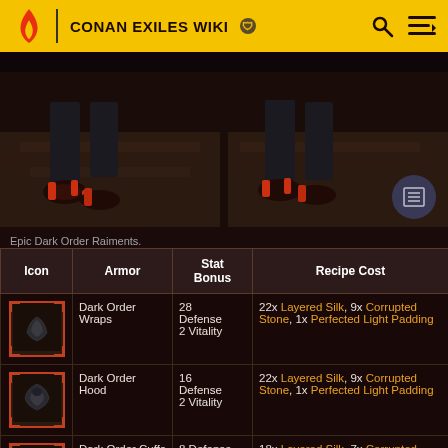CONAN EXILES WIKI
[Figure (photo): Screenshot of Epic Dark Order Raiments armor set showing feet/legs of a character with dark armor and red accents, stone floor background, two views side by side.]
Epic Dark Order Raiments.
| Icon | Armor | Stat Bonus | Recipe Cost |
| --- | --- | --- | --- |
| [icon] | Dark Order Wraps | 28 Defense
2 Vitality | 22x Layered Silk, 9x Corrupted Stone, 1x Perfected Light Padding |
| [icon] | Dark Order Hood | 16 Defense
2 Vitality | 22x Layered Silk, 9x Corrupted Stone, 1x Perfected Light Padding |
| [icon] | Dark Order Cuffs | 8 Defense
1 Agility | 18x Layered Silk, 7x Corrupted Stone, 1x |